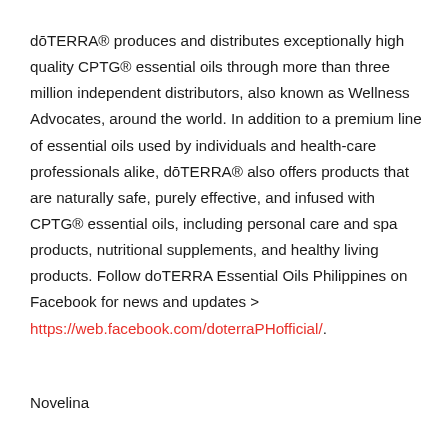dōTERRA® produces and distributes exceptionally high quality CPTG® essential oils through more than three million independent distributors, also known as Wellness Advocates, around the world. In addition to a premium line of essential oils used by individuals and health-care professionals alike, dōTERRA® also offers products that are naturally safe, purely effective, and infused with CPTG® essential oils, including personal care and spa products, nutritional supplements, and healthy living products. Follow doTERRA Essential Oils Philippines on Facebook for news and updates > https://web.facebook.com/doterraPHofficial/.
Novelina